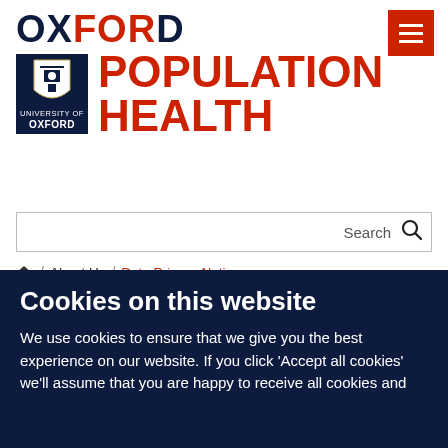[Figure (logo): Oxford Population Health logo with University of Oxford shield emblem, OXFORD in dark navy, POPULATION HEALTH in red]
[Figure (screenshot): Search bar with Search label and magnifying glass icon]
🏠 / About Us / Data Privacy Notice
Data Privacy Notice
We are committed to protecting the privacy and security of your personal information. This notice describes how we collect and use your personal
Cookies on this website
We use cookies to ensure that we give you the best experience on our website. If you click 'Accept all cookies' we'll assume that you are happy to receive all cookies and